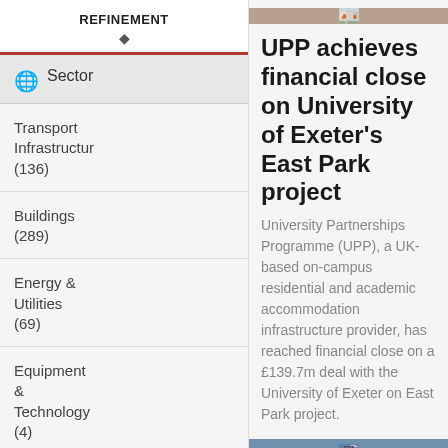REFINEMENT
Sector
Transport Infrastructure (136)
Buildings (289)
Energy & Utilities (69)
Equipment & Technology (4)
Business
[Figure (photo): Aerial/street-level rendering of a modern campus development with autumn trees and people walking]
UPP achieves financial close on University of Exeter's East Park project
University Partnerships Programme (UPP), a UK-based on-campus residential and academic accommodation infrastructure provider, has reached financial close on a £139.7m deal with the University of Exeter on East Park project.
[Figure (photo): Photograph of a modern multi-story building against a blue sky]